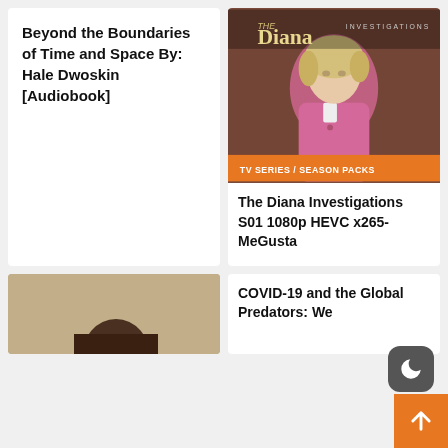Beyond the Boundaries of Time and Space By: Hale Dwoskin [Audiobook]
[Figure (photo): The Diana Investigations TV show poster featuring Princess Diana in a pink jacket, with title text 'THE Diana INVESTIGATIONS' and an orange banner reading 'TV SERIES / SEASON PACKS']
The Diana Investigations S01 1080p HEVC x265-MeGusta
[Figure (photo): Partial photo of a person's face/head, cropped at bottom of page]
COVID-19 and the Global Predators: We